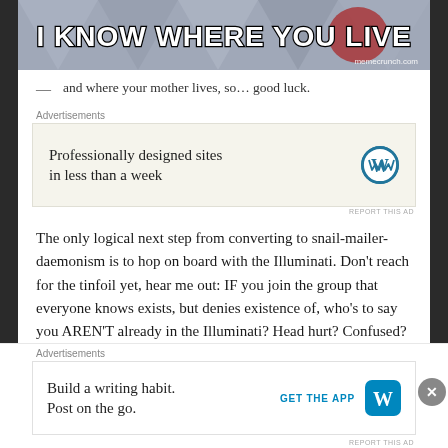[Figure (photo): Meme image with bold white text 'I KNOW WHERE YOU LIVE' on a patterned background with a red element. Watermark: memecrunch.com]
— and where your mother lives, so... good luck.
Advertisements
[Figure (screenshot): WordPress ad: 'Professionally designed sites in less than a week' with WordPress logo]
REPORT THIS AD
The only logical next step from converting to snail-mailer-daemonism is to hop on board with the Illuminati. Don’t reach for the tinfoil yet, hear me out: IF you join the group that everyone knows exists, but denies existence of, who’s to say you AREN’T already in the Illuminati? Head hurt? Confused? Good, everyone else will be too. Proudly promote your status as a tippy-top officer with oodles and boodles of juicy insider
Advertisements
[Figure (screenshot): WordPress ad: 'Build a writing habit. Post on the go.' with GET THE APP button and WordPress logo]